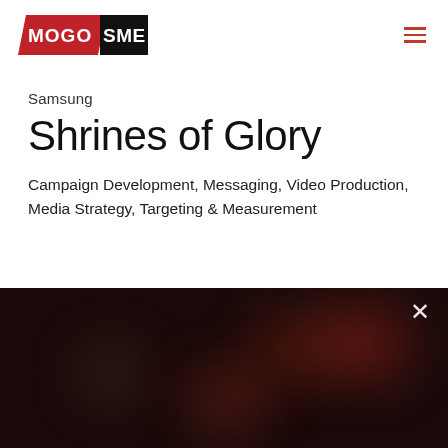[Figure (logo): MOGO SME logo — red parallelogram with white text 'MOGO' and black rectangle with white text 'SME']
Samsung
Shrines of Glory
Campaign Development, Messaging, Video Production, Media Strategy, Targeting & Measurement
[Figure (photo): Dark blurred background image with reddish bokeh lights, resembling a dimly lit venue or stage. An × close button is visible in the top right corner.]